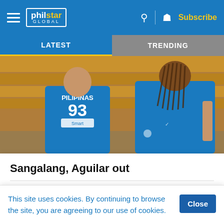philstar GLOBAL — Subscribe
LATEST | TRENDING
[Figure (photo): Two Gilas Pilipinas basketball players in blue jerseys. One jersey shows number 93 and PILIPINAS. Another player with braided hair stands in the foreground.]
Sangalang, Aguilar out
By Olmin Leyba | 12 hours ago
Just as NBA player Jordan Clarkson and towering Kai Sotto joined camp, Gilas Pilipinas finds itself facing frontcourt issues...
This site uses cookies. By continuing to browse the site, you are agreeing to our use of cookies.